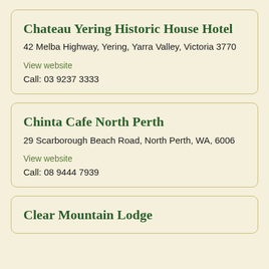Chateau Yering Historic House Hotel
42 Melba Highway, Yering, Yarra Valley, Victoria 3770
View website
Call: 03 9237 3333
Chinta Cafe North Perth
29 Scarborough Beach Road, North Perth, WA, 6006
View website
Call: 08 9444 7939
Clear Mountain Lodge